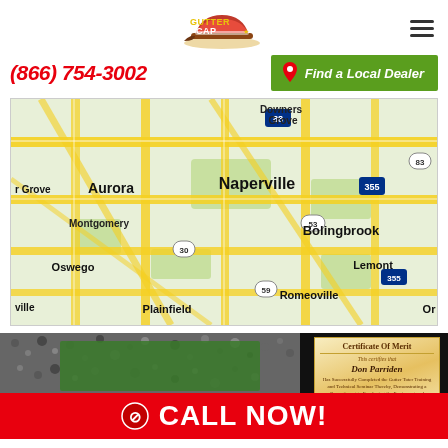[Figure (logo): Gutter Cap logo with hat graphic]
(866) 754-3002
Find a Local Dealer
[Figure (map): Google Maps view showing Naperville, Aurora, Bolingbrook, Downers Grove, Montgomery, Oswego, Plainfield, Romeoville, Lemont area in Illinois]
[Figure (photo): Dark background with green patch and certificate of merit image and CALL NOW! CTA overlay]
CALL NOW!